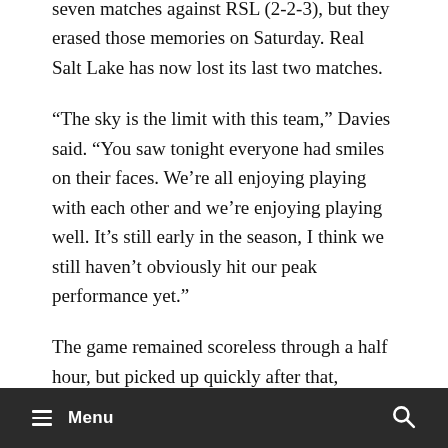seven matches against RSL (2-2-3), but they erased those memories on Saturday. Real Salt Lake has now lost its last two matches.
“The sky is the limit with this team,” Davies said. “You saw tonight everyone had smiles on their faces. We’re all enjoying playing with each other and we’re enjoying playing well. It’s still early in the season, I think we still haven’t obviously hit our peak performance yet.”
The game remained scoreless through a half hour, but picked up quickly after that, starting with Tierney’s opener in the 39th minute
Menu